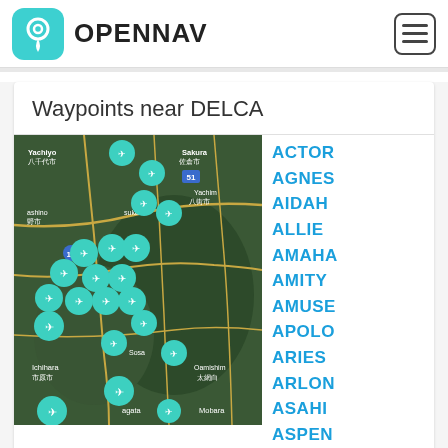OPENNAV
Waypoints near DELCA
[Figure (map): Satellite map of Japan near DELCA with multiple teal airplane waypoint pins clustered in the Chiba/Yachimata/Sakura area. Japanese text visible including city names: 八千代市 (Yachiyo), 佐倉市 (Sakura), 八街市 (Yachimata), 野市, Sukaido, Sosa, Ichihara 市原市, Oamishimachi 太網白, Mobara, Agata. Road numbers 16 and 51 visible.]
ACTOR
AGNES
AIDAH
ALLIE
AMAHA
AMITY
AMUSE
APOLO
ARIES
ARLON
ASAHI
ASPEN
ASTRA
ATAGO
AVION
AVITH